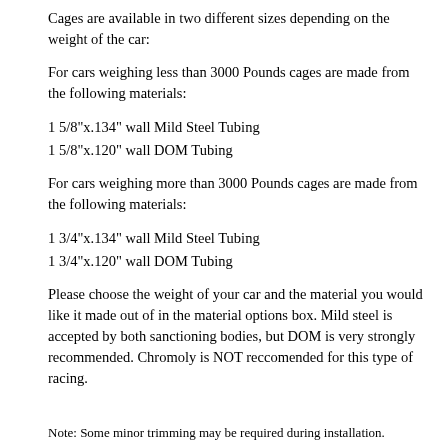Cages are available in two different sizes depending on the weight of the car:
For cars weighing less than 3000 Pounds cages are made from the following materials:
1 5/8"x.134" wall Mild Steel Tubing
1 5/8"x.120" wall DOM Tubing
For cars weighing more than 3000 Pounds cages are made from the following materials:
1 3/4"x.134" wall Mild Steel Tubing
1 3/4"x.120" wall DOM Tubing
Please choose the weight of your car and the material you would like it made out of in the material options box. Mild steel is accepted by both sanctioning bodies, but DOM is very strongly recommended. Chromoly is NOT reccomended for this type of racing.
Note: Some minor trimming may be required during installation.